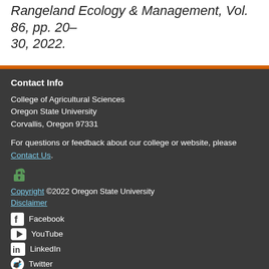Rangeland Ecology & Management, Vol. 86, pp. 20–30, 2022.
Contact Info
College of Agricultural Sciences
Oregon State University
Corvallis, Oregon 97331
For questions or feedback about our college or website, please Contact Us.
Copyright ©2022 Oregon State University
Disclaimer
Facebook
YouTube
LinkedIn
Twitter
Instagram